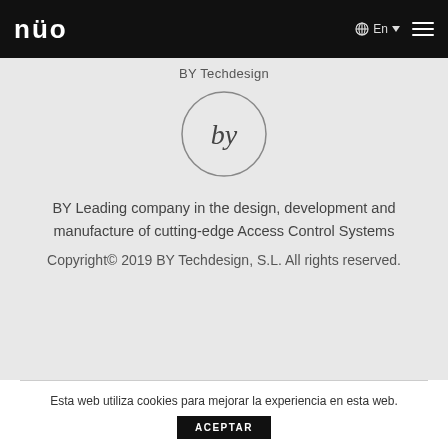nuo  En  ▼  ☰
BY Techdesign
[Figure (logo): Circular logo with lowercase 'by' text inside a thin circle]
BY Leading company in the design, development and manufacture of cutting-edge Access Control Systems
Copyright© 2019 BY Techdesign, S.L. All rights reserved.
Esta web utiliza cookies para mejorar la experiencia en esta web.